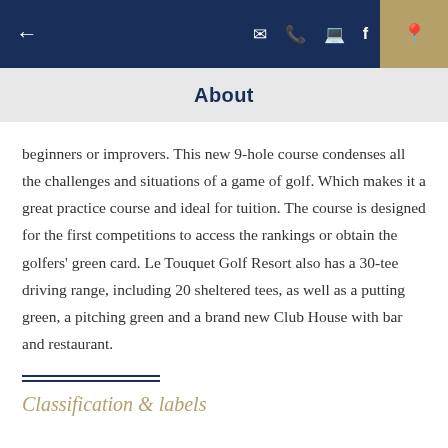← (navigation icons) (location icon)
About
beginners or improvers. This new 9-hole course condenses all the challenges and situations of a game of golf. Which makes it a great practice course and ideal for tuition. The course is designed for the first competitions to access the rankings or obtain the golfers' green card. Le Touquet Golf Resort also has a 30-tee driving range, including 20 sheltered tees, as well as a putting green, a pitching green and a brand new Club House with bar and restaurant.
Classification & labels